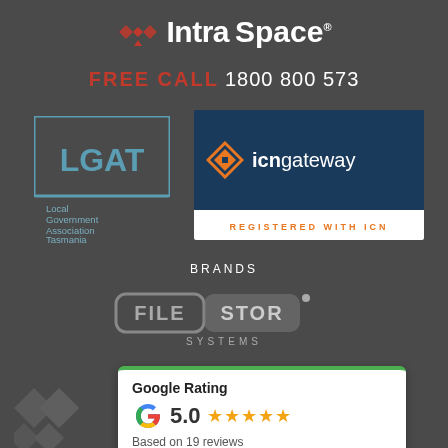[Figure (logo): IntraSpace logo: red interlocking diamond/arrow icon with white text 'IntraSpace' and registered trademark symbol]
FREE CALL 1800 800 573
[Figure (logo): LGAT - Local Government Association Tasmania logo in teal/blue]
[Figure (logo): ICN Gateway logo on dark navy background with orange arrow icon and text 'icngateway', below white bar with 'REGISTERED WITH ICN' in orange]
BRANDS
[Figure (logo): FILE STOR SYSTEMS logo in grey rounded rectangle style]
[Figure (logo): IntraSpace small grey icon (bottom left, partially visible)]
[Figure (infographic): Google Rating card: Google G logo, score 5.0, 5 orange stars, Based on 19 reviews]